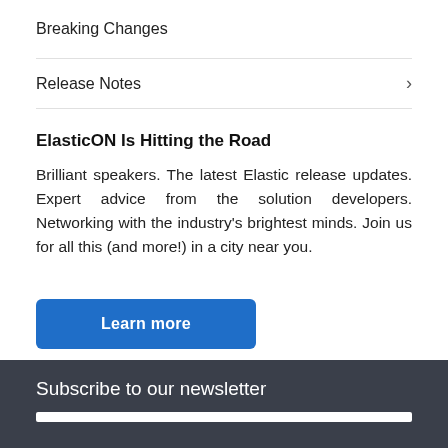Breaking Changes
Release Notes
ElasticON Is Hitting the Road
Brilliant speakers. The latest Elastic release updates. Expert advice from the solution developers. Networking with the industry’s brightest minds. Join us for all this (and more!) in a city near you.
Learn more
Subscribe to our newsletter